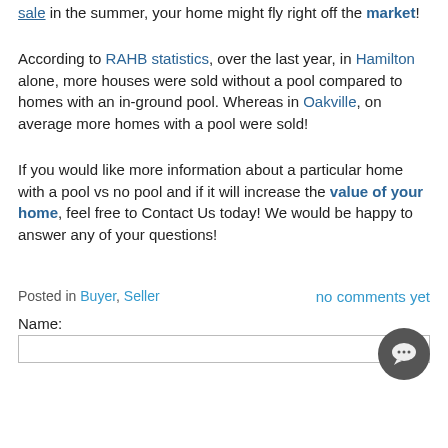sale in the summer, your home might fly right off the market!
According to RAHB statistics, over the last year, in Hamilton alone, more houses were sold without a pool compared to homes with an in-ground pool. Whereas in Oakville, on average more homes with a pool were sold!
If you would like more information about a particular home with a pool vs no pool and if it will increase the value of your home, feel free to Contact Us today! We would be happy to answer any of your questions!
Posted in Buyer, Seller   no comments yet
Name: